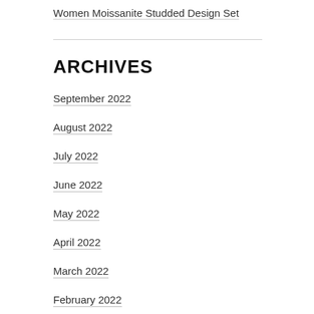Women Moissanite Studded Design Set
ARCHIVES
September 2022
August 2022
July 2022
June 2022
May 2022
April 2022
March 2022
February 2022
January 2022
December 2021